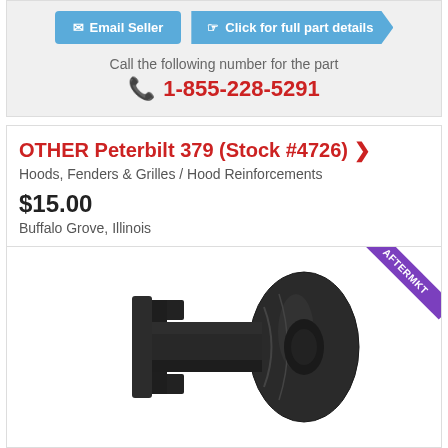Call the following number for the part
1-855-228-5291
OTHER Peterbilt 379 (Stock #4726)
Hoods, Fenders & Grilles / Hood Reinforcements
$15.00
Buffalo Grove, Illinois
[Figure (photo): Black cylindrical rubber hood bushing/reinforcement part for Peterbilt 379, with AFTERMKT badge in upper right corner]